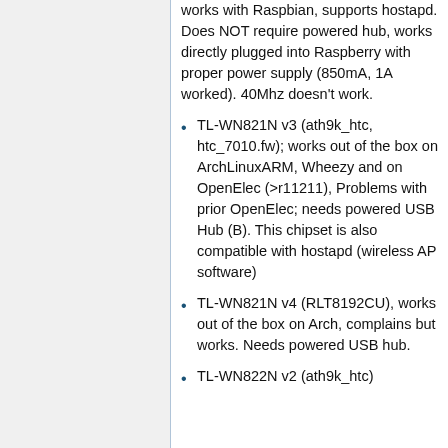works with Raspbian, supports hostapd. Does NOT require powered hub, works directly plugged into Raspberry with proper power supply (850mA, 1A worked). 40Mhz doesn't work.
TL-WN821N v3 (ath9k_htc, htc_7010.fw); works out of the box on ArchLinuxARM, Wheezy and on OpenElec (>r11211), Problems with prior OpenElec; needs powered USB Hub (B). This chipset is also compatible with hostapd (wireless AP software)
TL-WN821N v4 (RLT8192CU), works out of the box on Arch, complains but works. Needs powered USB hub.
TL-WN822N v2 (ath9k_htc)